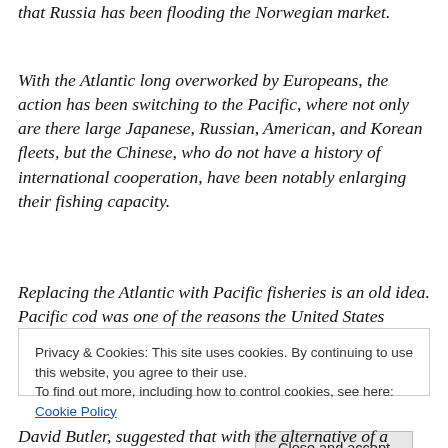that Russia has been flooding the Norwegian market.
With the Atlantic long overworked by Europeans, the action has been switching to the Pacific, where not only are there large Japanese, Russian, American, and Korean fleets, but the Chinese, who do not have a history of international cooperation, have been notably enlarging their fishing capacity.
Replacing the Atlantic with Pacific fisheries is an old idea. Pacific cod was one of the reasons the United States
Privacy & Cookies: This site uses cookies. By continuing to use this website, you agree to their use.
To find out more, including how to control cookies, see here: Cookie Policy
Close and accept
David Butler, suggested that with the alternative of a